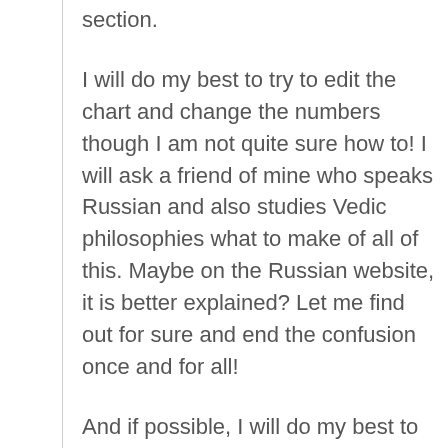section.
I will do my best to try to edit the chart and change the numbers though I am not quite sure how to! I will ask a friend of mine who speaks Russian and also studies Vedic philosophies what to make of all of this. Maybe on the Russian website, it is better explained? Let me find out for sure and end the confusion once and for all!
And if possible, I will do my best to